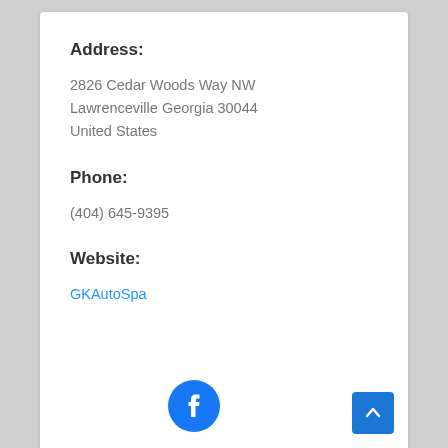Address:
2826 Cedar Woods Way NW
Lawrenceville Georgia 30044
United States
Phone:
(404) 645-9395
Website:
GKAutoSpa
[Figure (logo): Facebook logo icon - blue circle with white f letter]
[Figure (illustration): Back to top button - blue square with white upward chevron arrow]